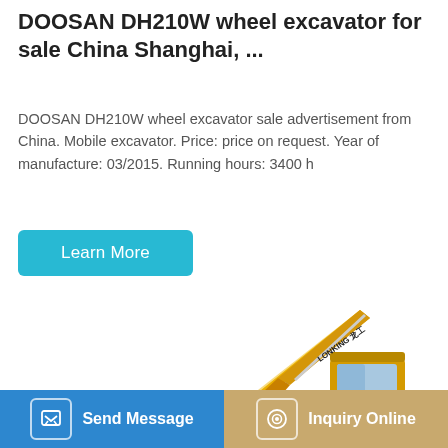DOOSAN DH210W wheel excavator for sale China Shanghai, ...
DOOSAN DH210W wheel excavator sale advertisement from China. Mobile excavator. Price: price on request. Year of manufacture: 03/2015. Running hours: 3400 h
[Figure (other): Blue 'Learn More' button]
[Figure (photo): Yellow LONKING branded crawler excavator on white background]
[Figure (other): Bottom action bar with 'Send Message' button (blue, left) and 'Inquiry Online' button (tan/gold, right)]